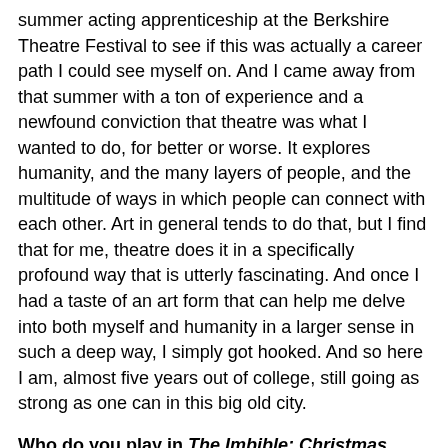summer acting apprenticeship at the Berkshire Theatre Festival to see if this was actually a career path I could see myself on. And I came away from that summer with a ton of experience and a newfound conviction that theatre was what I wanted to do, for better or worse. It explores humanity, and the many layers of people, and the multitude of ways in which people can connect with each other. Art in general tends to do that, but I find that for me, theatre does it in a specifically profound way that is utterly fascinating. And once I had a taste of an art form that can help me delve into both myself and humanity in a larger sense in such a deep way, I simply got hooked. And so here I am, almost five years out of college, still going as strong as one can in this big old city.
Who do you play in The Imbible: Christmas Carol Cocktails?: Ebenezer Scrooge
Tell us about The Imbible: Christmas Carol Cocktails: Christmas Carol Cocktails is a sequel to A Christmas Carol in which Scrooge returns home after his visit with the spirits with a newfound respect for Christmas. He realizes he needs to organize a Christmas party before it's too late, but